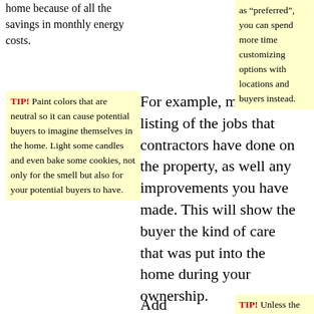home because of all the savings in monthly energy costs.
TIP! Paint colors that are neutral so it can cause potential buyers to imagine themselves in the home. Light some candles and even bake some cookies, not only for the smell but also for your potential buyers to have.
For example, maintain a listing of the jobs that contractors have done on the property, as well any improvements you have made. This will show the buyer the kind of care that was put into the home during your ownership.
Add
as “preferred”, you can spend more time customizing options with locations and buyers instead.
TIP! Unless the floors